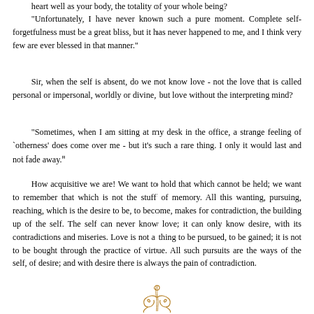heart well as your body, the totality of your whole being?
"Unfortunately, I have never known such a pure moment. Complete self-forgetfulness must be a great bliss, but it has never happened to me, and I think very few are ever blessed in that manner."
Sir, when the self is absent, do we not know love - not the love that is called personal or impersonal, worldly or divine, but love without the interpreting mind?
"Sometimes, when I am sitting at my desk in the office, a strange feeling of `otherness' does come over me - but it's such a rare thing. I only it would last and not fade away."
How acquisitive we are! We want to hold that which cannot be held; we want to remember that which is not the stuff of memory. All this wanting, pursuing, reaching, which is the desire to be, to become, makes for contradiction, the building up of the self. The self can never know love; it can only know desire, with its contradictions and miseries. Love is not a thing to be pursued, to be gained; it is not to be bought through the practice of virtue. All such pursuits are the ways of the self, of desire; and with desire there is always the pain of contradiction.
[Figure (illustration): Decorative calligraphic ornament in golden-brown color, centered at the bottom of the page]